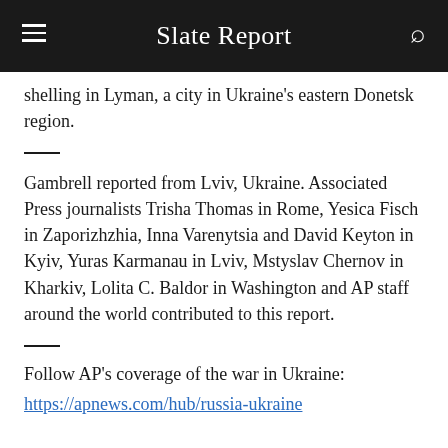Slate Report
shelling in Lyman, a city in Ukraine's eastern Donetsk region.
Gambrell reported from Lviv, Ukraine. Associated Press journalists Trisha Thomas in Rome, Yesica Fisch in Zaporizhzhia, Inna Varenytsia and David Keyton in Kyiv, Yuras Karmanau in Lviv, Mstyslav Chernov in Kharkiv, Lolita C. Baldor in Washington and AP staff around the world contributed to this report.
Follow AP's coverage of the war in Ukraine:
https://apnews.com/hub/russia-ukraine